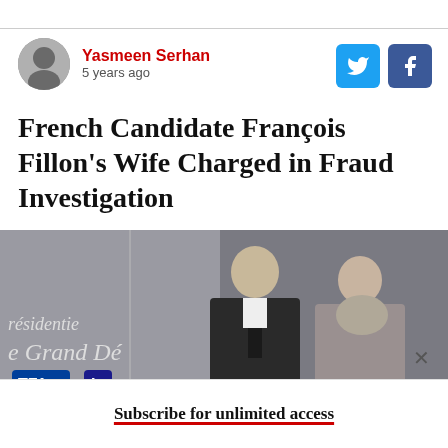Yasmeen Serhan
5 years ago
French Candidate François Fillon's Wife Charged in Fraud Investigation
[Figure (photo): Photo of François Fillon and his wife standing together at a presidential debate event with TF1 branding visible in the background]
Subscribe for unlimited access